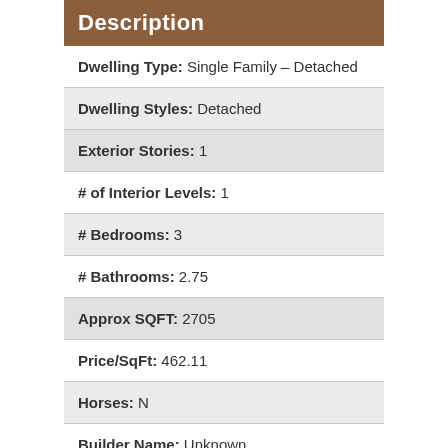Description
| Field | Value |
| --- | --- |
| Dwelling Type | Single Family – Detached |
| Dwelling Styles | Detached |
| Exterior Stories | 1 |
| # of Interior Levels | 1 |
| # Bedrooms | 3 |
| # Bathrooms | 2.75 |
| Approx SQFT | 2705 |
| Price/SqFt | 462.11 |
| Horses | N |
| Builder Name | Unknown |
| Year Built | 1981 |
| Approx Lot SqFt | 18745 |